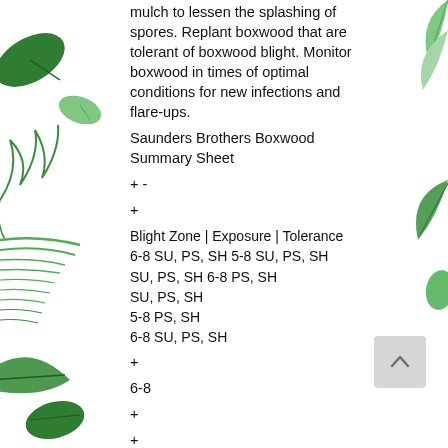mulch to lessen the splashing of spores. Replant boxwood that are tolerant of boxwood blight. Monitor boxwood in times of optimal conditions for new infections and flare-ups.
Saunders Brothers Boxwood Summary Sheet
+ -
+
Blight Zone | Exposure | Tolerance
6-8 SU, PS, SH 5-8 SU, PS, SH
SU, PS, SH 6-8 PS, SH
SU, PS, SH
5-8 PS, SH
6-8 SU, PS, SH
+
6-8
+
+
+
+